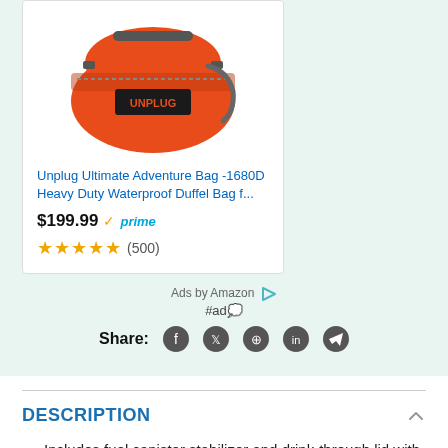[Figure (photo): Orange waterproof duffel bag with UNPLUG branding, shown at an angle on a white background inside a product card]
Unplug Ultimate Adventure Bag -1680D Heavy Duty Waterproof Duffel Bag f...
$199.99 ✓prime
★★★★★ (500)
Ads by Amazon #ad
Share: (facebook) (twitter) (pinterest) (linkedin) (telegram)
DESCRIPTION
Includes fuel canister stabilizer and drink-through lid with pour spout and strainer; easy to pack and carry at only 12 ounces. One-year limited warranty.